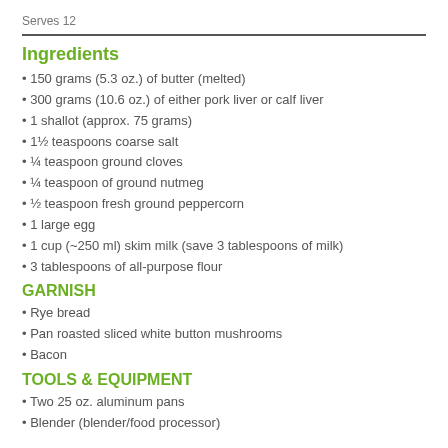Serves 12
Ingredients
150 grams (5.3 oz.) of butter (melted)
300 grams (10.6 oz.) of either pork liver or calf liver
1 shallot (approx. 75 grams)
1½ teaspoons coarse salt
¼ teaspoon ground cloves
¼ teaspoon of ground nutmeg
½ teaspoon fresh ground peppercorn
1 large egg
1 cup (~250 ml) skim milk (save 3 tablespoons of milk)
3 tablespoons of all-purpose flour
GARNISH
Rye bread
Pan roasted sliced white button mushrooms
Bacon
TOOLS & EQUIPMENT
Two 25 oz. aluminum pans
Blender (blender/food processor)